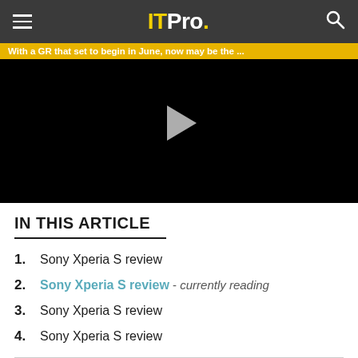IT Pro.
[Figure (screenshot): Video player with black background and play button, caption text: With a GR that set to begin in June, now may be the ...]
IN THIS ARTICLE
1. Sony Xperia S review
2. Sony Xperia S review - currently reading
3. Sony Xperia S review
4. Sony Xperia S review